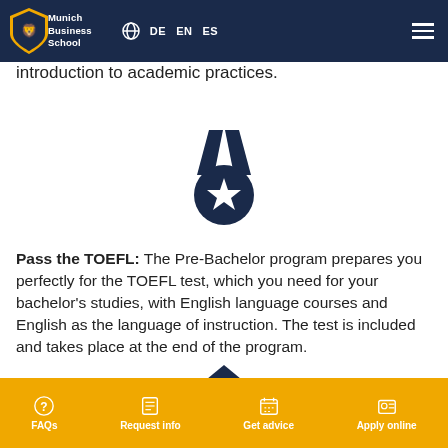Munich Business School — DE EN ES navigation
introduction to academic practices.
[Figure (illustration): Medal icon with star — dark navy blue medal with ribbon on top]
Pass the TOEFL: The Pre-Bachelor program prepares you perfectly for the TOEFL test, which you need for your bachelor's studies, with English language courses and English as the language of instruction. The test is included and takes place at the end of the program.
[Figure (illustration): House/home icon — dark navy blue house icon]
FAQs | Request info | Get advice | Apply online